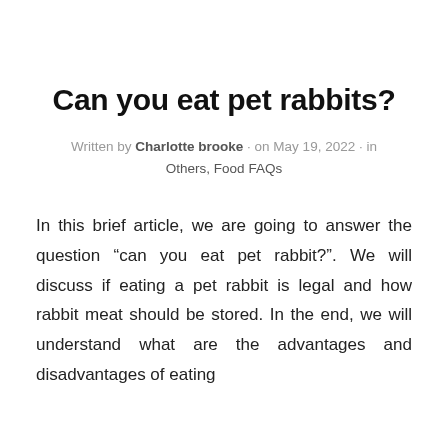Can you eat pet rabbits?
Written by Charlotte brooke · on May 19, 2022 · in Others, Food FAQs
In this brief article, we are going to answer the question “can you eat pet rabbit?”. We will discuss if eating a pet rabbit is legal and how rabbit meat should be stored. In the end, we will understand what are the advantages and disadvantages of eating